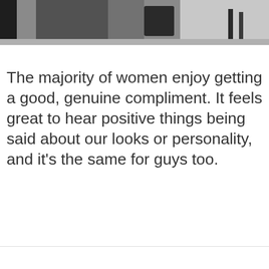[Figure (photo): Partial photo showing a person's lower body in dark clothing, likely standing near a desk or chair, cropped at the top of the page.]
The majority of women enjoy getting a good, genuine compliment. It feels great to hear positive things being said about our looks or personality, and it’s the same for guys too.